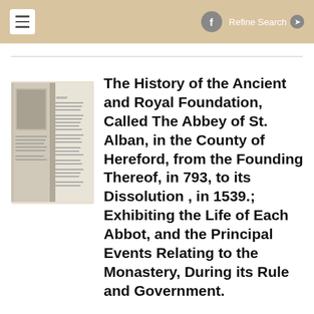≡   f  Refine Search ❯
[Figure (photo): Open book showing title page of 'The History of the Ancient and Royal Foundation, Called The Abbey of St. Alban']
The History of the Ancient and Royal Foundation, Called The Abbey of St. Alban, in the County of Hereford, from the Founding Thereof, in 793, to its Dissolution , in 1539.; Exhibiting the Life of Each Abbot, and the Principal Events Relating to the Monastery, During its Rule and Government.